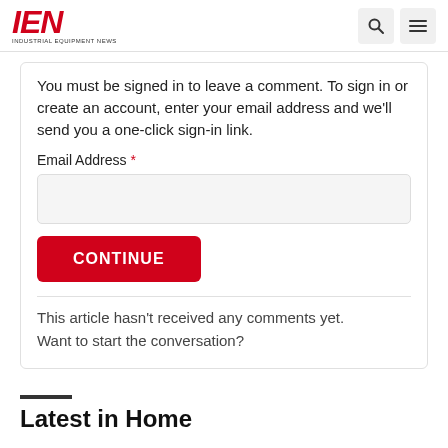IEN - Industrial Equipment News
You must be signed in to leave a comment. To sign in or create an account, enter your email address and we'll send you a one-click sign-in link.
Email Address *
CONTINUE
This article hasn't received any comments yet. Want to start the conversation?
Latest in Home